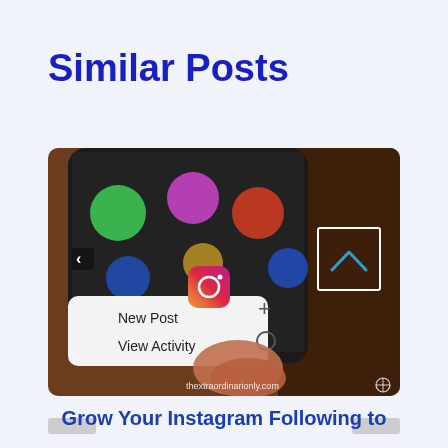Similar Posts
[Figure (photo): A finger pressing the Instagram app icon on a smartphone screen showing blurred colorful app icons. A popup menu shows 'New Post' and 'View Activity' options. An arrow-up icon in a dark box appears on the right side. The watermark 'thextraordinarionly.com' appears at the bottom right.]
Grow Your Instagram Following to